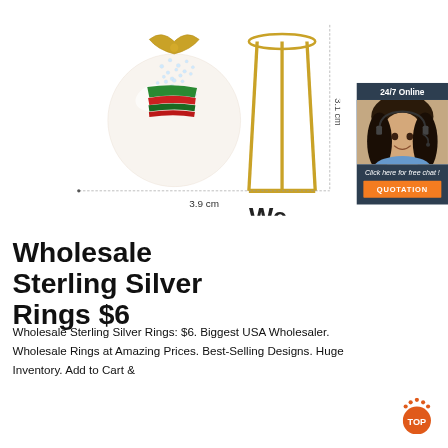[Figure (photo): A gold and rhinestone snowman brooch/pin with a white enamel body, colorful scarf with red and green stripes, and crystal embellishments. Shown with ruler markings indicating 3.9 cm width and 3.1 cm height.]
3.1 cm
3.9 cm
[Figure (photo): Customer service agent - woman with headset smiling. '24/7 Online' chat widget with 'Click here for free chat!' text and orange QUOTATION button.]
Wholesale Sterling Silver Rings $6
Wholesale Sterling Silver Rings: $6. Biggest USA Wholesaler. Wholesale Rings at Amazing Prices. Best-Selling Designs. Huge Inventory. Add to Cart &